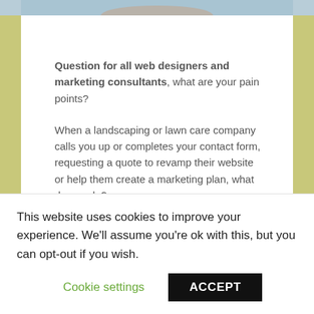[Figure (photo): Top portion of a person's image, cropped — shows blue/grey tones at the top of the page]
Question for all web designers and marketing consultants, what are your pain points?
When a landscaping or lawn care company calls you up or completes your contact form, requesting a quote to revamp their website or help them create a marketing plan, what do you do?
This website uses cookies to improve your experience. We'll assume you're ok with this, but you can opt-out if you wish.
Cookie settings   ACCEPT